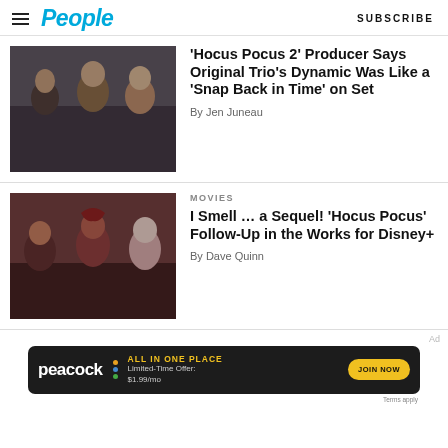People | SUBSCRIBE
[Figure (photo): Three witches from Hocus Pocus 2 on set, misty background]
'Hocus Pocus 2' Producer Says Original Trio’s Dynamic Was Like a ‘Snap Back in Time’ on Set
By Jen Juneau
MOVIES
[Figure (photo): Three Sanderson sisters from original Hocus Pocus movie]
I Smell … a Sequel! ‘Hocus Pocus’ Follow-Up in the Works for Disney+
By Dave Quinn
[Figure (infographic): Peacock ad: ALL IN ONE PLACE, Limited-Time Offer: $1.99/mo, JOIN NOW]